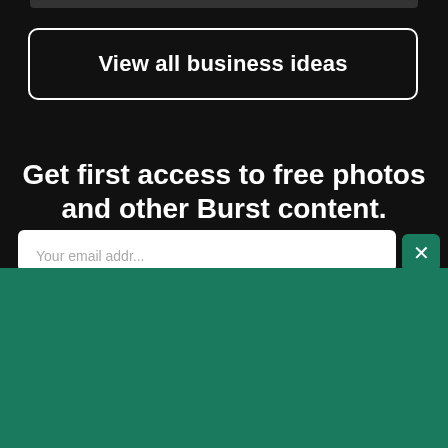[Figure (screenshot): Top decorative bar element on dark background]
View all business ideas
Get first access to free photos and other Burst content. Unsubscribe anytime.
[Figure (screenshot): Email input field (white rounded rectangle) with close X button in teal]
[Figure (logo): Shopify logo with shopping bag icon and italic shopify wordmark on teal background]
Need an online store for your business?
Start free trial